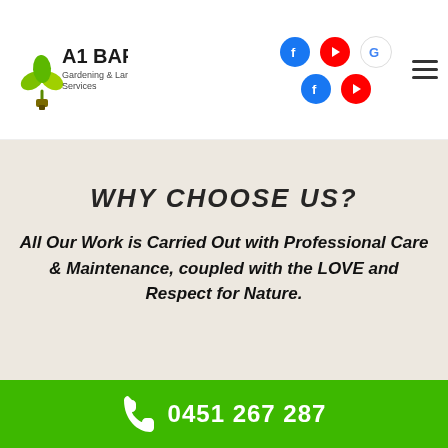[Figure (logo): A1 Bargain Gardening & Landscaping Services logo with green leaf/sprout icon]
A1 Bargain Gardening & Landscaping Services — navigation header with social icons (Facebook, YouTube, Google) and hamburger menu
WHY CHOOSE US?
All Our Work is Carried Out with Professional Care & Maintenance, coupled with the LOVE and Respect for Nature.
0451 267 287